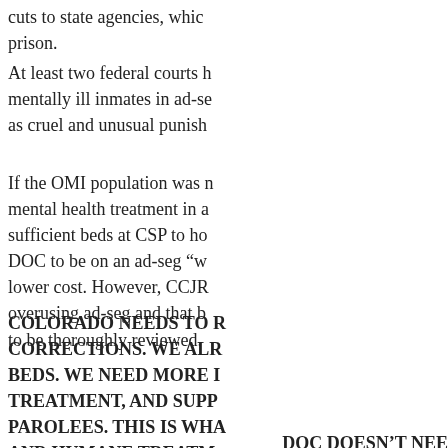cuts to state agencies, which... prison.
At least two federal courts h... mentally ill inmates in ad-se... as cruel and unusual punish...
If the OMI population was n... mental health treatment in a... sufficient beds at CSP to ho... DOC to be on an ad-seg "w... lower cost. However, CCJR... overusing ad-seg and that b... to be thoroughly reviewed.
COLORADO NEEDS TO R... CORRECTIONS. WE ALR... BEDS. WE NEED MORE I... TREATMENT, AND SUPP... PAROLEES. THIS IS WHA... AND HUMANE TREATM... RE-ENTRY FOLLOWING...
DOC DOESN'T NEE...